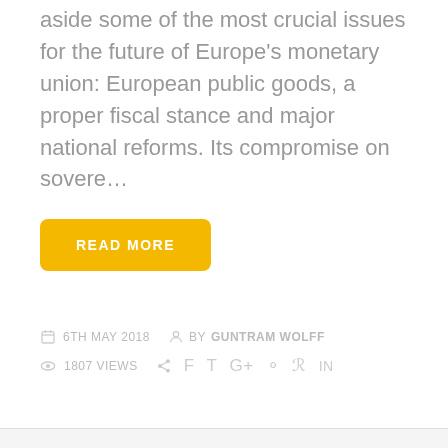aside some of the most crucial issues for the future of Europe's monetary union: European public goods, a proper fiscal stance and major national reforms. Its compromise on sovere…
READ MORE
6TH MAY 2018  BY GUNTRAM WOLFF
1807 VIEWS
# INTERVIEWS
Weniger Briefe aus Brüssel